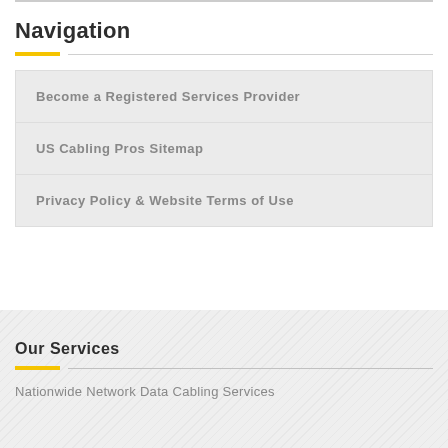Navigation
Become a Registered Services Provider
US Cabling Pros Sitemap
Privacy Policy & Website Terms of Use
Our Services
Nationwide Network Data Cabling Services